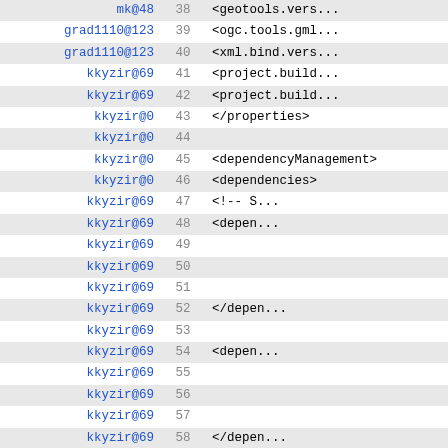| user | line | code |
| --- | --- | --- |
| mk@48 | 38 | <geotools.vers... |
| grad1110@123 | 39 | <ogc.tools.gml... |
| grad1110@123 | 40 | <xml.bind.vers... |
| kkyzir@69 | 41 | <project.build... |
| kkyzir@69 | 42 | <project.build... |
| kkyzir@0 | 43 | </properties> |
| kkyzir@0 | 44 |  |
| kkyzir@0 | 45 | <dependencyManagement> |
| kkyzir@0 | 46 | <dependencies> |
| kkyzir@69 | 47 | <!-- S... |
| kkyzir@69 | 48 | <depen... |
| kkyzir@69 | 49 |  |
| kkyzir@69 | 50 |  |
| kkyzir@69 | 51 |  |
| kkyzir@69 | 52 | </depen... |
| kkyzir@69 | 53 |  |
| kkyzir@69 | 54 | <depen... |
| kkyzir@69 | 55 |  |
| kkyzir@69 | 56 |  |
| kkyzir@69 | 57 |  |
| kkyzir@69 | 58 | </depen... |
| kkyzir@69 | 59 |  |
| kkyzir@69 | 60 | <depen... |
| kkyzir@69 | 61 |  |
| kkyzir@69 | 62 |  |
| kkyzir@69 | 63 |  |
| kkyzir@69 | 64 | </depen... |
| kkyzir@69 | 65 |  |
| kkyzir@69 | 66 | <depen... |